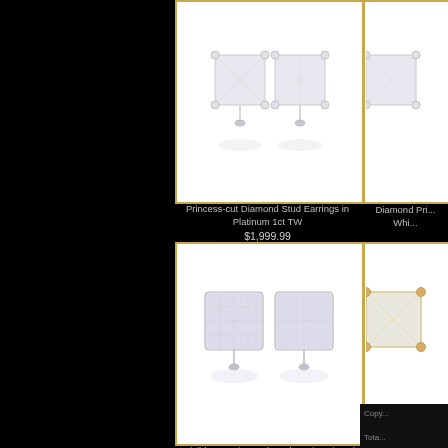[Figure (photo): Princess-cut diamond stud earrings in platinum on white background]
Princess-cut Diamond Stud Earrings in Platinum 1ct TW
$1,999.99
[Figure (photo): Diamond Princess cut stud earrings in white gold, partially visible]
[Figure (photo): Invisible Set Diamond Stud Earrings in 14k White on white background]
Invisible Set Diamond Stud Earrings in 14k White 3/8ct TW
$399.99
[Figure (photo): Diamond Princess cut stud earrings in yellow gold, partially visible]
Diamond Pri...
Whi...
Diamond Pri...
Yelle...
Copy...
Tota...